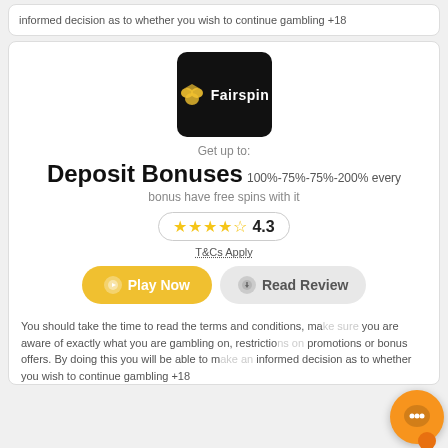informed decision as to whether you wish to continue gambling +18
[Figure (logo): Fairspin casino logo: black rounded square with golden fox icon and white 'Fairspin' text]
Get up to:
Deposit Bonuses 100%-75%-75%-200% every bonus have free spins with it
4.3 stars rating
T&Cs Apply
Play Now
Read Review
You should take the time to read the terms and conditions, make sure you are aware of exactly what you are gambling on, restrictions on promotions or bonus offers. By doing this you will be able to make an informed decision as to whether you wish to continue gambling +18